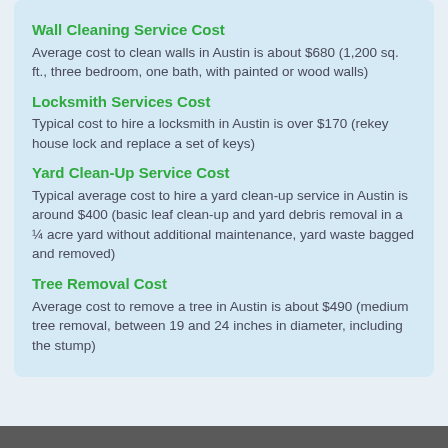Wall Cleaning Service Cost
Average cost to clean walls in Austin is about $680 (1,200 sq. ft., three bedroom, one bath, with painted or wood walls)
Locksmith Services Cost
Typical cost to hire a locksmith in Austin is over $170 (rekey house lock and replace a set of keys)
Yard Clean-Up Service Cost
Typical average cost to hire a yard clean-up service in Austin is around $400 (basic leaf clean-up and yard debris removal in a ¼ acre yard without additional maintenance, yard waste bagged and removed)
Tree Removal Cost
Average cost to remove a tree in Austin is about $490 (medium tree removal, between 19 and 24 inches in diameter, including the stump)